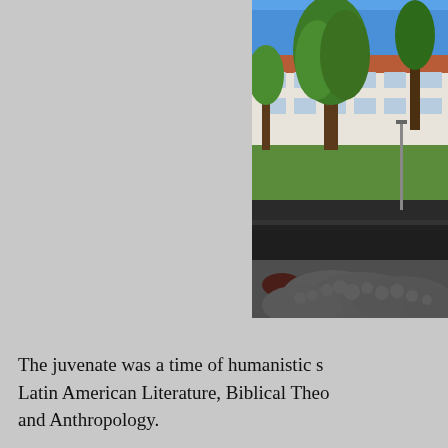[Figure (photo): Outdoor photo of a white institutional building with red/terracotta roof tiles, surrounded by green trees under a bright blue sky, with white flowers in the foreground and a dark asphalt path visible.]
The juvenate was a time of humanistic s... Latin American Literature, Biblical Theo... and Anthropology.